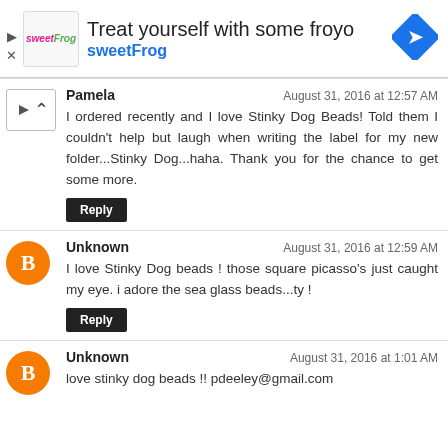[Figure (screenshot): SweetFrog ad banner with logo, text 'Treat yourself with some froyo' and 'sweetFrog', and a blue diamond navigation icon]
Pamela  August 31, 2016 at 12:57 AM
I ordered recently and I love Stinky Dog Beads! Told them I couldn't help but laugh when writing the label for my new folder...Stinky Dog...haha. Thank you for the chance to get some more.
[Reply]
Unknown  August 31, 2016 at 12:59 AM
I love Stinky Dog beads ! those square picasso's just caught my eye. i adore the sea glass beads...ty !
[Reply]
Unknown  August 31, 2016 at 1:01 AM
love stinky dog beads !! pdeeley@gmail.com